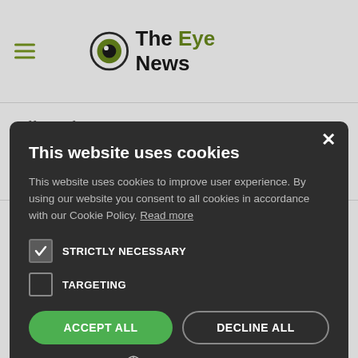The Eye News
different forms. → Link
[Figure (screenshot): Cookie consent modal dialog on The Eye News website with title 'This website uses cookies', body text about cookie policy, checkboxes for STRICTLY NECESSARY (checked) and TARGETING (unchecked), ACCEPT ALL and DECLINE ALL buttons, and SHOW DETAILS option]
This website uses cookies
This website uses cookies to improve user experience. By using our website you consent to all cookies in accordance with our Cookie Policy. Read more
STRICTLY NECESSARY
TARGETING
ACCEPT ALL
DECLINE ALL
SHOW DETAILS